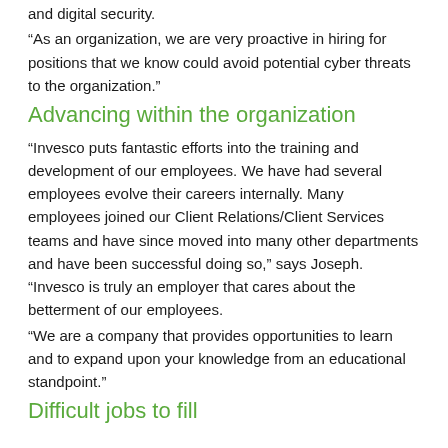and digital security.
“As an organization, we are very proactive in hiring for positions that we know could avoid potential cyber threats to the organization.”
Advancing within the organization
“Invesco puts fantastic efforts into the training and development of our employees. We have had several employees evolve their careers internally. Many employees joined our Client Relations/Client Services teams and have since moved into many other departments and have been successful doing so,” says Joseph. “Invesco is truly an employer that cares about the betterment of our employees.
“We are a company that provides opportunities to learn and to expand upon your knowledge from an educational standpoint.”
Difficult jobs to fill